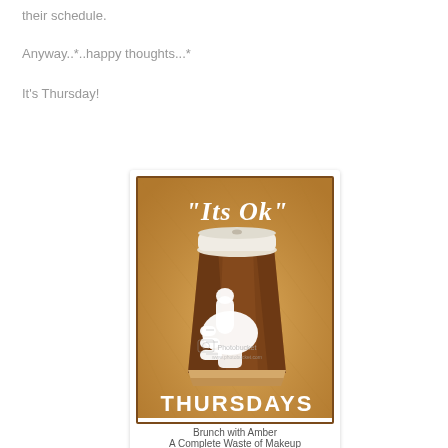their schedule.
Anyway..*..happy thoughts...*
It's Thursday!
[Figure (illustration): "Its Ok" Thursdays coffee cup illustration with thumbs up, brown background, Photobucket watermark. Caption: Brunch with Amber / A Complete Waste of Makeup]
Brunch with Amber
A Complete Waste of Makeup